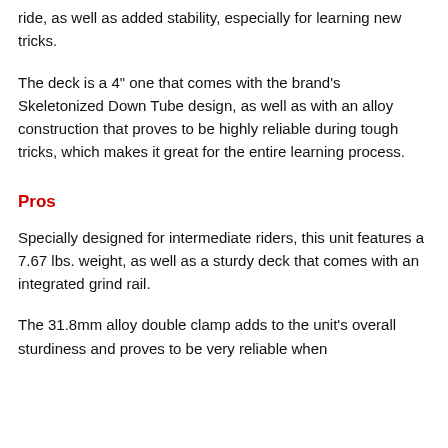ride, as well as added stability, especially for learning new tricks.
The deck is a 4" one that comes with the brand's Skeletonized Down Tube design, as well as with an alloy construction that proves to be highly reliable during tough tricks, which makes it great for the entire learning process.
Pros
Specially designed for intermediate riders, this unit features a 7.67 lbs. weight, as well as a sturdy deck that comes with an integrated grind rail.
The 31.8mm alloy double clamp adds to the unit's overall sturdiness and proves to be very reliable when